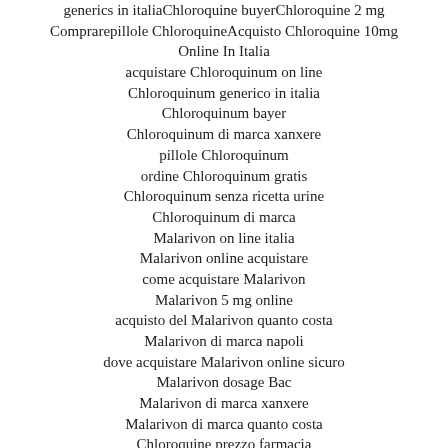generics in italiaChloroquine buyerChloroquine 2 mg Comprarepillole ChloroquineAcquisto Chloroquine 10mg Online In Italia
acquistare Chloroquinum on line
Chloroquinum generico in italia
Chloroquinum bayer
Chloroquinum di marca xanxere
pillole Chloroquinum
ordine Chloroquinum gratis
Chloroquinum senza ricetta urine
Chloroquinum di marca
Malarivon on line italia
Malarivon online acquistare
come acquistare Malarivon
Malarivon 5 mg online
acquisto del Malarivon quanto costa
Malarivon di marca napoli
dove acquistare Malarivon online sicuro
Malarivon dosage Bac
Malarivon di marca xanxere
Malarivon di marca quanto costa
Chloroquine prezzo farmacia
Chloroquine 2 Mg Comprare
Chloroquine di marca xanxere
prezzo del Chloroquine
Chloroquine senza ricetta inglese